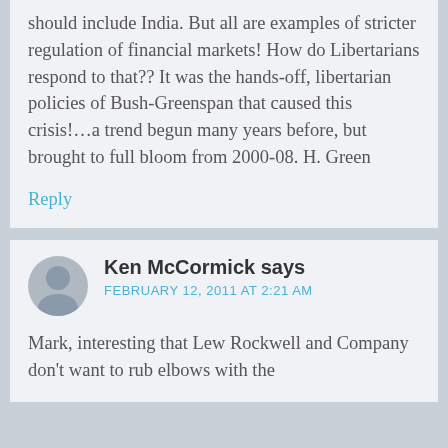should include India. But all are examples of stricter regulation of financial markets! How do Libertarians respond to that?? It was the hands-off, libertarian policies of Bush-Greenspan that caused this crisis!…a trend begun many years before, but brought to full bloom from 2000-08. H. Green
Reply
Ken McCormick says
FEBRUARY 12, 2011 AT 2:21 AM
Mark, interesting that Lew Rockwell and Company don't want to rub elbows with the